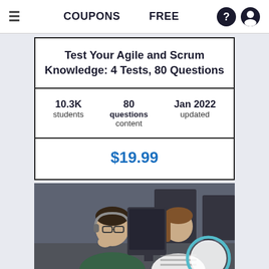COUPONS  FREE
Test Your Agile and Scrum Knowledge: 4 Tests, 80 Questions
10.3K students | 80 questions content | Jan 2022 updated
$19.99
[Figure (photo): Two people working at computers in an office, a man with glasses and headphones and a woman in a striped shirt, with a circular overlay element at bottom right]